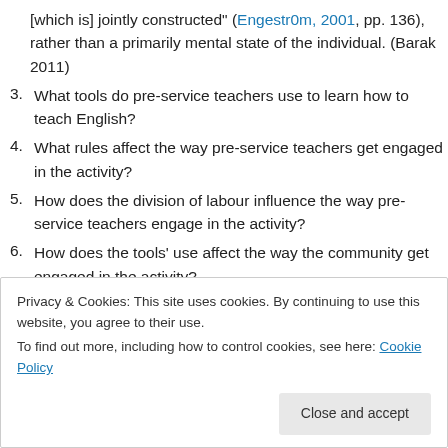[which is] jointly constructed" (Engestr0m, 2001, pp. 136), rather than a primarily mental state of the individual. (Barak 2011)
3. What tools do pre-service teachers use to learn how to teach English?
4. What rules affect the way pre-service teachers get engaged in the activity?
5. How does the division of labour influence the way pre-service teachers engage in the activity?
6. How does the tools’ use affect the way the community get engaged in the activity?
Privacy & Cookies: This site uses cookies. By continuing to use this website, you agree to their use. To find out more, including how to control cookies, see here: Cookie Policy